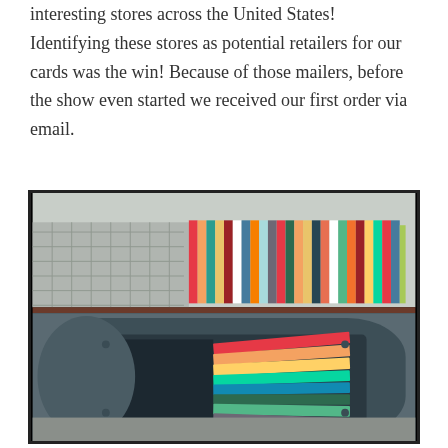interesting stores across the United States! Identifying these stores as potential retailers for our cards was the win! Because of those mailers, before the show even started we received our first order via email.
[Figure (photo): A photograph split into two sections: the top portion shows a colorful striped display (greeting cards) with vibrant multi-colored vertical stripes against a light background with a fence. The bottom portion shows an open blue/grey US postal mailbox filled with a stack of colorful greeting cards in red, orange, yellow, green, and purple.]